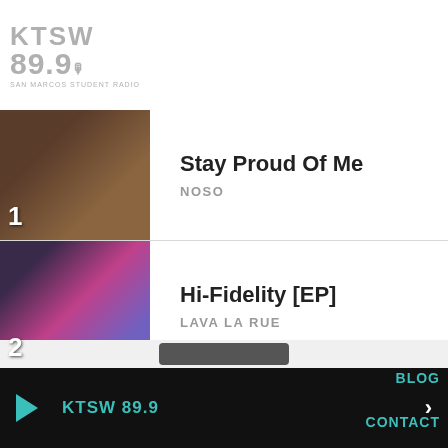[Figure (logo): KTSW 89.9 radio station logo in gray]
1. Stay Proud Of Me — NOSO
2. Hi-Fidelity [EP] — LAVA LA RUE
3. Too Much To Ask — CHEEKFACE
4. Surrender — MAGGIE ROGERS
5. Could We Be More — KOKOROKO
BLOG
CONTACT
ABOUT US
KTSW 89.9